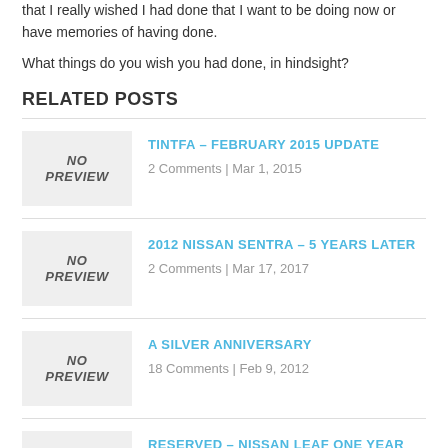that I really wished I had done that I want to be doing now or have memories of having done.
What things do you wish you had done, in hindsight?
RELATED POSTS
TINTFA – FEBRUARY 2015 UPDATE | 2 Comments | Mar 1, 2015
2012 NISSAN SENTRA – 5 YEARS LATER | 2 Comments | Mar 17, 2017
A SILVER ANNIVERSARY | 18 Comments | Feb 9, 2012
RESERVED – NISSAN LEAF ONE YEAR LATER | 18 Comments | Apr 20, 2011